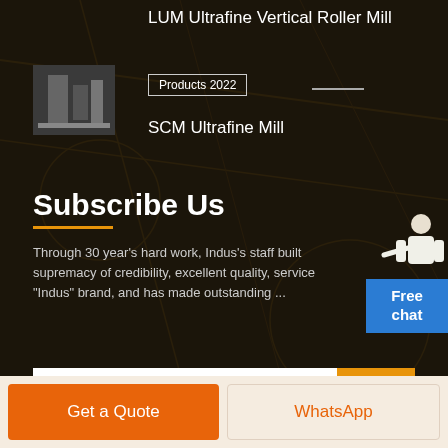LUM Ultrafine Vertical Roller Mill
Products 2022
SCM Ultrafine Mill
Subscribe Us
Through 30 year’s hard work, Indus’s staff built supremacy of credibility, excellent quality, service "Indus" brand, and has made outstanding ...
E-mail
GO
Free chat
Get a Quote
WhatsApp